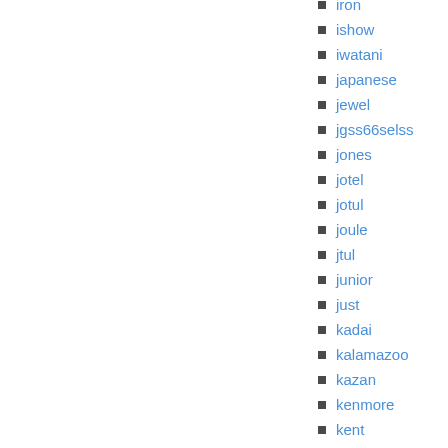iron
ishow
iwatani
japanese
jewel
jgss66selss
jones
jotel
jotul
joule
jtul
junior
just
kadai
kalamazoo
kazan
kenmore
kent